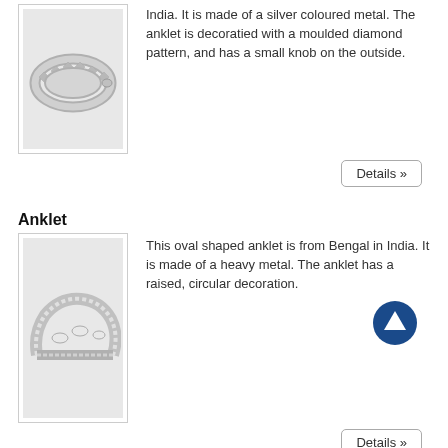[Figure (photo): Silver coloured metal anklet with diamond pattern and small knob on the outside, from India]
India. It is made of a silver coloured metal. The anklet is decoratied with a moulded diamond pattern, and has a small knob on the outside.
Details »
Anklet
[Figure (photo): Oval shaped heavy metal anklet from Bengal, India, with raised circular decoration]
This oval shaped anklet is from Bengal in India. It is made of a heavy metal. The anklet has a raised, circular decoration.
[Figure (other): Up arrow icon in dark blue circle]
Details »